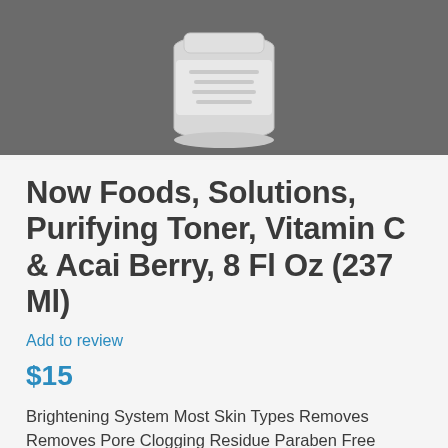[Figure (photo): Partial view of a white cylindrical cosmetic product container (toner bottle) on a gray background, cropped showing mostly the bottom portion of the product.]
Now Foods, Solutions, Purifying Toner, Vitamin C & Acai Berry, 8 Fl Oz (237 Ml)
Add to review
$15
Brightening System Most Skin Types Removes Removes Pore Clogging Residue Paraben Free Gluten-Free. Vegan. Condition: Combination skin with minor color imbalances, dull appearance, uneven tone, or